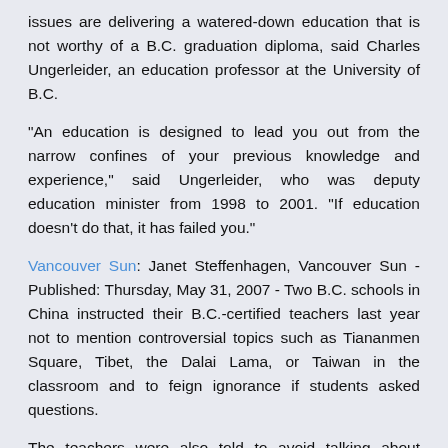issues are delivering a watered-down education that is not worthy of a B.C. graduation diploma, said Charles Ungerleider, an education professor at the University of B.C.
"An education is designed to lead you out from the narrow confines of your previous knowledge and experience," said Ungerleider, who was deputy education minister from 1998 to 2001. "If education doesn't do that, it has failed you."
Vancouver Sun: Janet Steffenhagen, Vancouver Sun - Published: Thursday, May 31, 2007 - Two B.C. schools in China instructed their B.C.-certified teachers last year not to mention controversial topics such as Tiananmen Square, Tibet, the Dalai Lama, or Taiwan in the classroom and to feign ignorance if students asked questions.
The teachers were also told to avoid talking about human rights but if the topic came up, they should direct criticism towards other countries, especially the U.S., according to confidential information distributed to staff at Grand